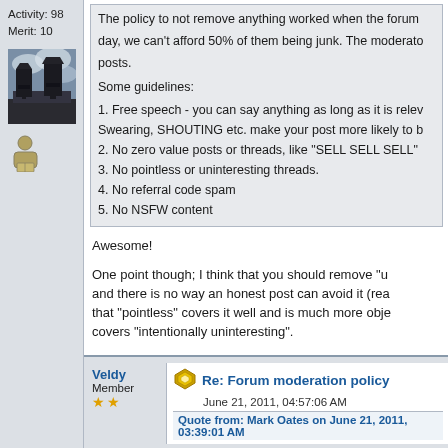Activity: 98
Merit: 10
[Figure (photo): Avatar photo showing industrial water towers against a cloudy sky]
[Figure (illustration): Small user/member icon]
The policy to not remove anything worked when the forum was small but now we get 2000 posts a day, we can't afford 50% of them being junk. The moderators will remove junk posts.

Some guidelines:

1. Free speech - you can say anything as long as it is relevant and not pointless. Swearing, SHOUTING etc. make your post more likely to be removed, not less.
2. No zero value posts or threads, like "SELL SELL SELL"
3. No pointless or uninteresting threads.
4. No referral code spam
5. No NSFW content
Awesome!
One point though; I think that you should remove "u... and there is no way an honest post can avoid it (rea... that "pointless" covers it well and is much more obje... covers "intentionally uninteresting".
If you have found my post helpful, please donate what you fe...
18vaZ4K62WiL6W2Qoj9AE1cerfCHRaUW4x
Veldy
Member
Re: Forum moderation policy
June 21, 2011, 04:57:06 AM
Quote from: Mark Oates on June 21, 2011, 03:39:01 AM